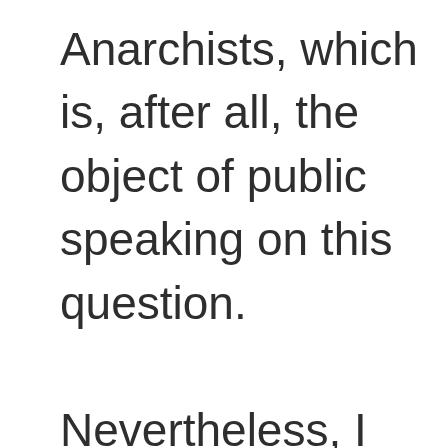Anarchists, which is, after all, the object of public speaking on this question.

Nevertheless, I